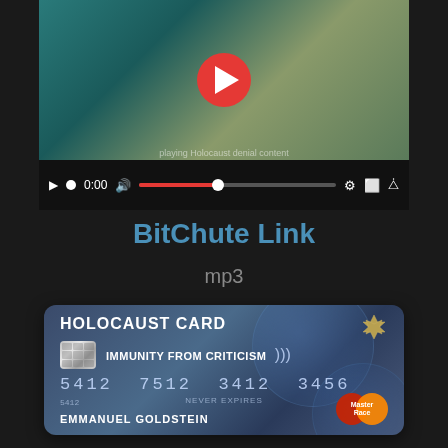[Figure (screenshot): Embedded video player with play button, progress bar at 0:00, volume, settings, pip and fullscreen controls on dark background]
BitChute Link
mp3
[Figure (illustration): Antisemitic fake credit card styled as 'Holocaust Card' with text 'IMMUNITY FROM CRITICISM', card number '5412 7512 3412 3456', cardholder name 'EMMANUEL GOLDSTEIN', 'NEVER EXPIRES', Star of David symbol, and MasterCard-style logo reading 'Master Race']